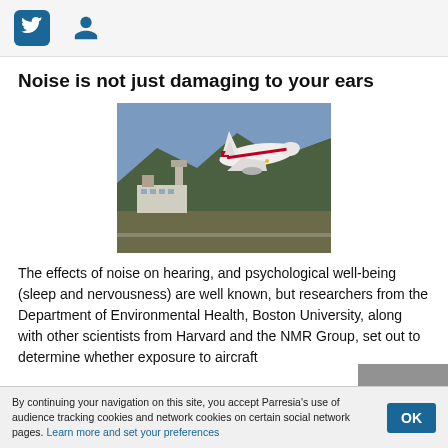[Twitter icon] [User icon]
Noise is not just damaging to your ears
[Figure (photo): Airplane taking off from an airport runway with a control tower and mountain in the background.]
The effects of noise on hearing, and psychological well-being (sleep and nervousness) are well known, but researchers from the Department of Environmental Health, Boston University, along with other scientists from Harvard and the NMR Group, set out to determine whether exposure to aircraft
By continuing your navigation on this site, you accept Parresia's use of audience tracking cookies and network cookies on certain social network pages. Learn more and set your preferences  OK